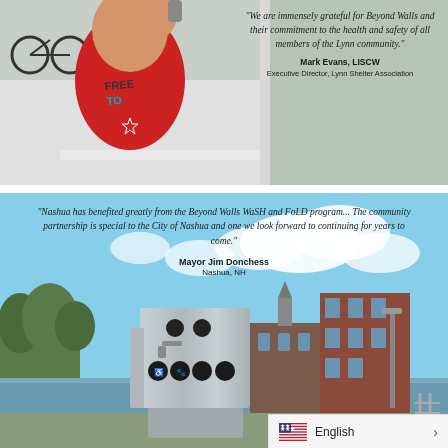[Figure (photo): Child in red 'Free To Be' shirt drinking from a cup/bottle at an outdoor event]
"We are immensely grateful for Beyond Walls and their commitment to the health and safety of all members of the Lynn community."

Mark Evans, LISCW
Executive Director, Lynn Shelter Association
[Figure (photo): Outdoor water fountain/kiosk station in foreground with Nashua NH city skyline, river, historic brick buildings and church steeple in background]
"Nashua has benefited greatly from the Beyond Walls WaSH and FoLD program... The community partnership is special to the City of Nashua and one we look forward to continuing for years to come."

Mayor Jim Donchess
Nashua, NH
English >